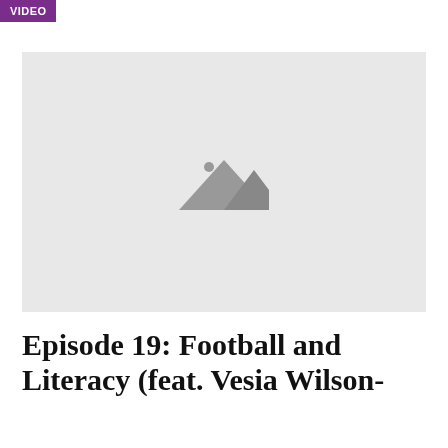VIDEO
[Figure (photo): Video thumbnail placeholder showing a generic image icon (mountain landscape icon) on a light grey background]
Episode 19: Football and Literacy (feat. Vesia Wilson-